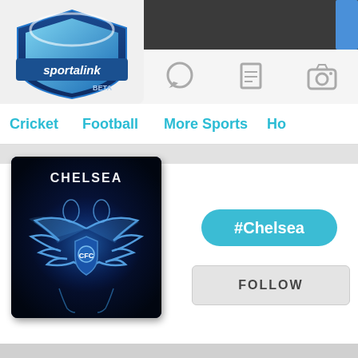[Figure (logo): Sportalink BETA logo - blue shield with text 'sportalink' and 'BETA']
[Figure (screenshot): Navigation icon bar with chat bubble, document, and camera icons]
Cricket
Football
More Sports
Ho
[Figure (photo): Chelsea FC blue eagle/wings logo on dark background with text CHELSEA]
#Chelsea
FOLLOW